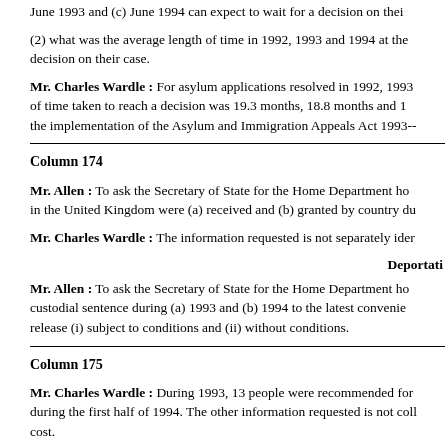June 1993 and (c) June 1994 can expect to wait for a decision on thei
(2) what was the average length of time in 1992, 1993 and 1994 at the decision on their case.
Mr. Charles Wardle : For asylum applications resolved in 1992, 1993 of time taken to reach a decision was 19.3 months, 18.8 months and 1 the implementation of the Asylum and Immigration Appeals Act 1993--
Column 174
Mr. Allen : To ask the Secretary of State for the Home Department ho in the United Kingdom were (a) received and (b) granted by country du
Mr. Charles Wardle : The information requested is not separately ider
Deportati
Mr. Allen : To ask the Secretary of State for the Home Department ho custodial sentence during (a) 1993 and (b) 1994 to the latest convenie release (i) subject to conditions and (ii) without conditions.
Column 175
Mr. Charles Wardle : During 1993, 13 people were recommended for during the first half of 1994. The other information requested is not coll cost.
Remand Pris